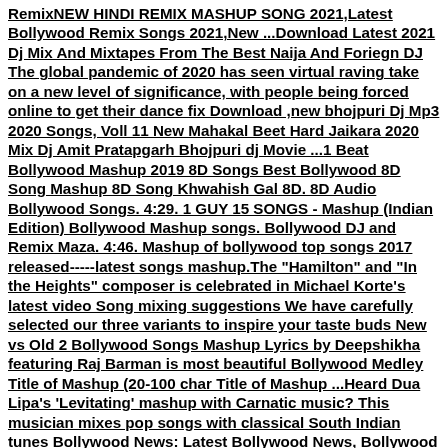RemixNEW HINDI REMIX MASHUP SONG 2021,Latest Bollywood Remix Songs 2021,New ...Download Latest 2021 Dj Mix And Mixtapes From The Best Naija And Foriegn DJ The global pandemic of 2020 has seen virtual raving take on a new level of significance, with people being forced online to get their dance fix Download ,new bhojpuri Dj Mp3 2020 Songs, Voll 11 New Mahakal Beet Hard Jaikara 2020 Mix Dj Amit Pratapgarh Bhojpuri dj Movie ...1 Beat Bollywood Mashup 2019 8D Songs Best Bollywood 8D Song Mashup 8D Song Khwahish Gal 8D. 8D Audio Bollywood Songs. 4:29. 1 GUY 15 SONGS - Mashup (Indian Edition) Bollywood Mashup songs. Bollywood DJ and Remix Maza. 4:46. Mashup of bollywood top songs 2017 released-----latest songs mashup.The "Hamilton" and "In the Heights" composer is celebrated in Michael Korte's latest video Song mixing suggestions We have carefully selected our three variants to inspire your taste buds New vs Old 2 Bollywood Songs Mashup Lyrics by Deepshikha featuring Raj Barman is most beautiful Bollywood Medley Title of Mashup (20-100 char Title of Mashup ...Heard Dua Lipa's 'Levitating' mashup with Carnatic music? This musician mixes pop songs with classical South Indian tunes Bollywood News: Latest Bollywood News, Bollywood News Today ...2. "Me Myself & I" and "Urvashi" youtube.com youtube.com Shirley Setia and Kurt Schneider picked two immensely popular songs to create a new fav in your playlist.